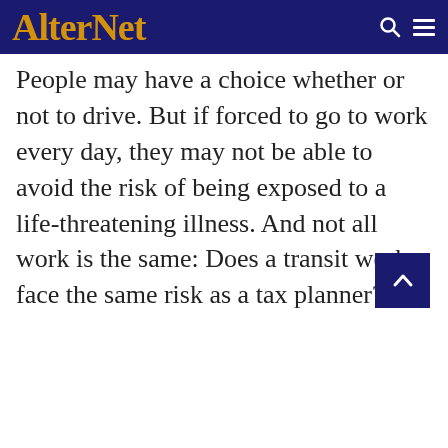AlterNet
People may have a choice whether or not to drive. But if forced to go to work every day, they may not be able to avoid the risk of being exposed to a life-threatening illness. And not all work is the same: Does a transit worker face the same risk as a tax planner?